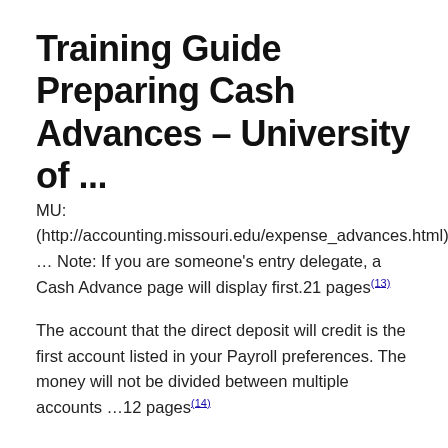Training Guide Preparing Cash Advances – University of ...
MU: (http://accounting.missouri.edu/expense_advances.html) … Note: If you are someone's entry delegate, a Cash Advance page will display first.21 pages(13)
The account that the direct deposit will credit is the first account listed in your Payroll preferences. The money will not be divided between multiple accounts …12 pages(14)